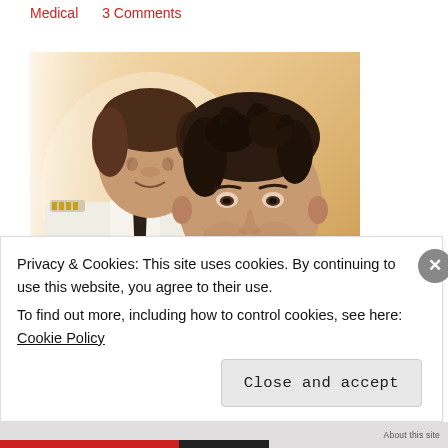Medical    3 Comments
[Figure (photo): Two men in an aviation/pilot themed photo. One man in background wearing a white pilot uniform with gold-striped epaulettes and dark tie, smiling. A younger shirtless man in foreground wearing a chain necklace, looking intensely. Warm golden/sepia background. Bottom left shows partial red text 'Ti...' and bottom right text 'He finds out what flying...']
Privacy & Cookies: This site uses cookies. By continuing to use this website, you agree to their use.
To find out more, including how to control cookies, see here: Cookie Policy
Close and accept